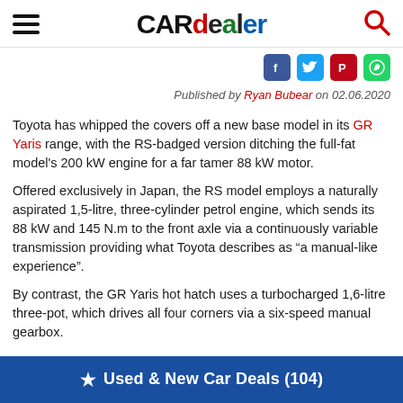CAR dealer
[Figure (other): Social media share icons: Facebook, Twitter, Pinterest, WhatsApp]
Published by Ryan Bubear on 02.06.2020
Toyota has whipped the covers off a new base model in its GR Yaris range, with the RS-badged version ditching the full-fat model's 200 kW engine for a far tamer 88 kW motor.
Offered exclusively in Japan, the RS model employs a naturally aspirated 1,5-litre, three-cylinder petrol engine, which sends its 88 kW and 145 N.m to the front axle via a continuously variable transmission providing what Toyota describes as “a manual-like experience”.
By contrast, the GR Yaris hot hatch uses a turbocharged 1,6-litre three-pot, which drives all four corners via a six-speed manual gearbox.
★ Used & New Car Deals (104)